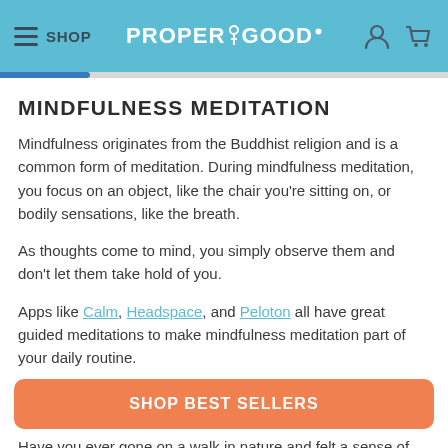SHOP | PROPER GOOD
MINDFULNESS MEDITATION
Mindfulness originates from the Buddhist religion and is a common form of meditation. During mindfulness meditation, you focus on an object, like the chair you're sitting on, or bodily sensations, like the breath.
As thoughts come to mind, you simply observe them and don't let them take hold of you.
Apps like Calm, Headspace, and Peloton all have great guided meditations to make mindfulness meditation part of your daily routine.
SHOP BEST SELLERS
Have you ever gone on a walk in nature and felt a sense of calm/